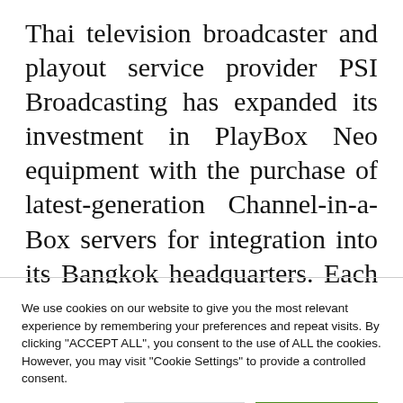Thai television broadcaster and playout service provider PSI Broadcasting has expanded its investment in PlayBox Neo equipment with the purchase of latest-generation Channel-in-a-Box servers for integration into its Bangkok headquarters. Each CIAB server includes a complete suite of AirBox Neo-20 playout software plus TitleBox Neo-20 graphics and Capture Suite ingest management.
We use cookies on our website to give you the most relevant experience by remembering your preferences and repeat visits. By clicking "ACCEPT ALL", you consent to the use of ALL the cookies. However, you may visit "Cookie Settings" to provide a controlled consent.